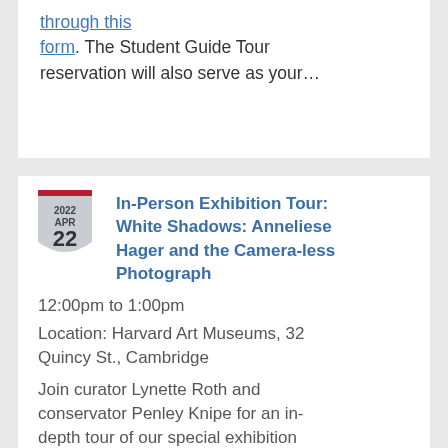through this form. The Student Guide Tour reservation will also serve as your...
[Figure (illustration): Calendar badge shield shape showing date 2022 APR 22 with a red top bar]
In-Person Exhibition Tour: White Shadows: Anneliese Hager and the Camera-less Photograph
12:00pm to 1:00pm
Location: Harvard Art Museums, 32 Quincy St., Cambridge
Join curator Lynette Roth and conservator Penley Knipe for an in-depth tour of our special exhibition